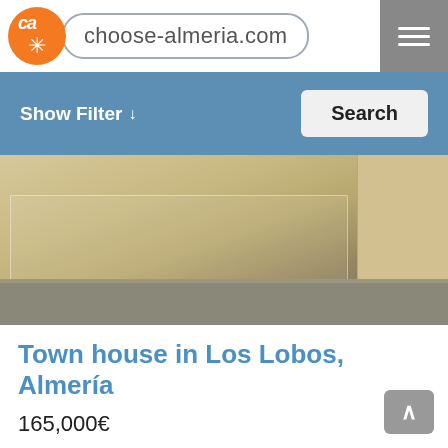choose-almeria.com
Show Filter ↓
Search
[Figure (photo): Exterior street view of a town house in Los Lobos, Almería, showing white iron fence, paved street, and adjacent buildings]
Town house in Los Lobos, Almería
165,000€
3 Bedrooms  2 Bathrooms  ▶ Video Tour